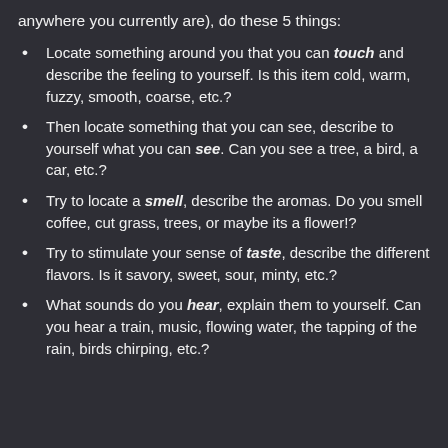anywhere you currently are), do these 5 things:
Locate something around you that you can touch and describe the feeling to yourself. Is this item cold, warm, fuzzy, smooth, coarse, etc.?
Then locate something that you can see, describe to yourself what you can see. Can you see a tree, a bird, a car, etc.?
Try to locate a smell, describe the aromas. Do you smell coffee, cut grass, trees, or maybe its a flower!?
Try to stimulate your sense of taste, describe the different flavors. Is it savory, sweet, sour, minty, etc.?
What sounds do you hear, explain them to yourself. Can you hear a train, music, flowing water, the tapping of the rain, birds chirping, etc.?